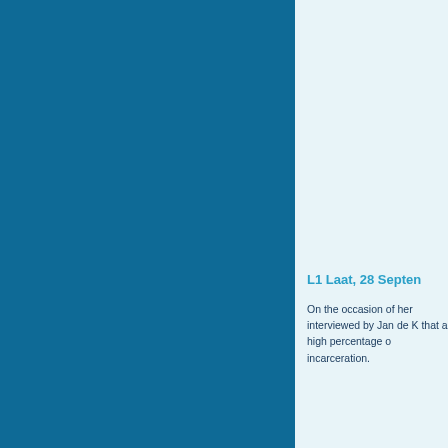L1 Laat, 28 Septen
On the occasion of her interviewed by Jan de K that a high percentage o incarceration.